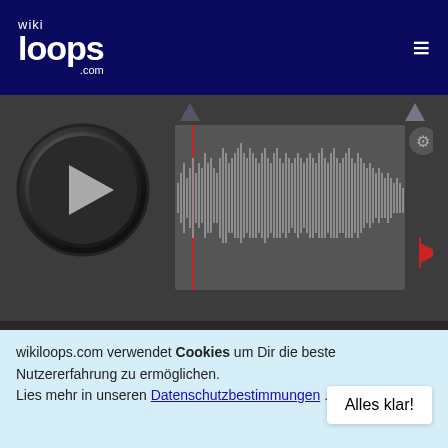[Figure (screenshot): wikiloops.com website header with logo on dark navy background and hamburger menu icon]
[Figure (screenshot): Audio player with dark background, circular play button, waveform display, progress markers, settings gear icon, flag icon, time display 00:00, 80 BPM, 03:13, mute icon, toggle switch, and PUB badge]
vor 6 Jahren
Ernie440
Good one kells ... great singin' as per usual! 🙂
wikiloops.com verwendet Cookies um Dir die beste Nutzererfahrung zu ermöglichen.
Lies mehr in unseren Datenschutzbestimmungen .